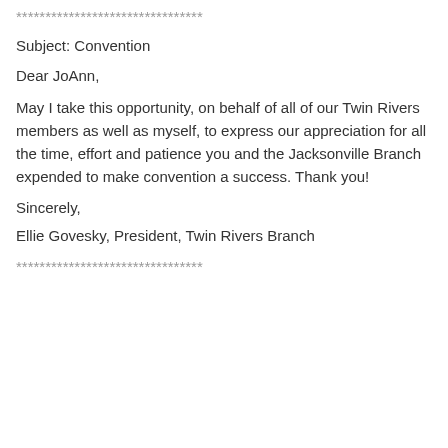********************************
Subject: Convention
Dear JoAnn,
May I take this opportunity, on behalf of all of our Twin Rivers members as well as myself, to express our appreciation for all the time, effort and patience you and the Jacksonville Branch expended to make convention a success. Thank you!
Sincerely,
Ellie Govesky, President, Twin Rivers Branch
********************************